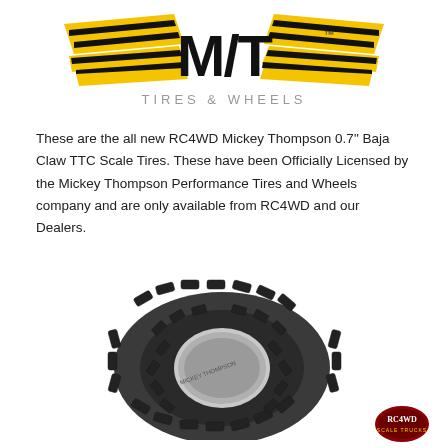[Figure (logo): Mickey Thompson M/T Tires & Wheels logo with yellow wing graphic and bold black M/T lettering, subtitle TIRES & WHEELS in gray]
These are the all new RC4WD Mickey Thompson 0.7" Baja Claw TTC Scale Tires. These have been Officially Licensed by the Mickey Thompson Performance Tires and Wheels company and are only available from RC4WD and our Dealers.
[Figure (photo): RC4WD Mickey Thompson Baja Claw TTC Scale Tire, a dark gray/black off-road tire with aggressive tread pattern shown at an angle]
[Figure (logo): RC4WD brand badge/logo in red and black oval shape, bottom right corner]